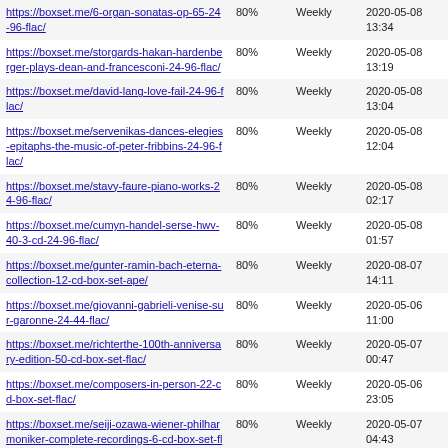| URL | % | Frequency | Last checked |
| --- | --- | --- | --- |
| https://boxset.me/6-organ-sonatas-op-65-24-96-flac/ | 80% | Weekly | 2020-05-08 13:34 |
| https://boxset.me/storgards-hakan-hardenberger-plays-dean-and-francesconi-24-96-flac/ | 80% | Weekly | 2020-05-08 13:19 |
| https://boxset.me/david-lang-love-fail-24-96-flac/ | 80% | Weekly | 2020-05-08 13:04 |
| https://boxset.me/servenikas-dances-elegies-epitaphs-the-music-of-peter-fribbins-24-96-flac/ | 80% | Weekly | 2020-05-08 12:04 |
| https://boxset.me/stavy-faure-piano-works-24-96-flac/ | 80% | Weekly | 2020-05-08 02:17 |
| https://boxset.me/cumyn-handel-serse-hwv-40-3-cd-24-96-flac/ | 80% | Weekly | 2020-05-08 01:57 |
| https://boxset.me/gunter-ramin-bach-eterna-collection-12-cd-box-set-ape/ | 80% | Weekly | 2020-08-07 14:11 |
| https://boxset.me/giovanni-gabrieli-venise-sur-garonne-24-44-flac/ | 80% | Weekly | 2020-05-06 11:00 |
| https://boxset.me/richterthe-100th-anniversary-edition-50-cd-box-set-flac/ | 80% | Weekly | 2020-05-07 00:47 |
| https://boxset.me/composers-in-person-22-cd-box-set-flac/ | 80% | Weekly | 2020-05-06 23:05 |
| https://boxset.me/seiji-ozawa-wiener-philharmoniker-complete-recordings-6-cd-box-set-flac/ | 80% | Weekly | 2020-05-07 04:43 |
| https://boxset.me/seiji-ozawa-101-your-best-tunes-6-cd-flac/ | 80% | Weekly | 2020-05-07 04:29 |
| https://boxset.me/goossens-berlioz-symphony-fantastique-op-14-dvd-awv/ | 80% | Weekly | 2020-05-07 02:40 |
| https://boxset.me/kertesz-dvorak-symphony-no-8-scherzo-capriccioso-24-192-flac/ | 80% | Weekly | 2020-05-06 10:26 |
| https://boxset.me/hauser-london-symphony-orchestra-classic-24-96-flac/ | 80% | Weekly | 2020-05-06 08:22 |